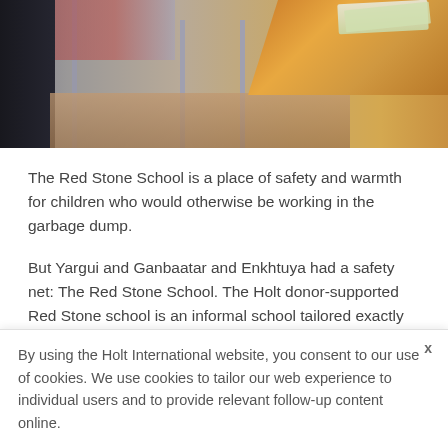[Figure (photo): Classroom interior photo showing wooden desks, metal chair legs, a jacket on the left, books on a desk at right, and a tiled floor. Top portion of a school classroom scene.]
The Red Stone School is a place of safety and warmth for children who would otherwise be working in the garbage dump.
But Yargui and Ganbaatar and Enkhtuya had a safety net: The Red Stone School. The Holt donor-supported Red Stone school is an informal school tailored exactly for children like Yargui. It's a safe, warm place for children who live in or near the garbage dump to
By using the Holt International website, you consent to our use of cookies. We use cookies to tailor our web experience to individual users and to provide relevant follow-up content online.